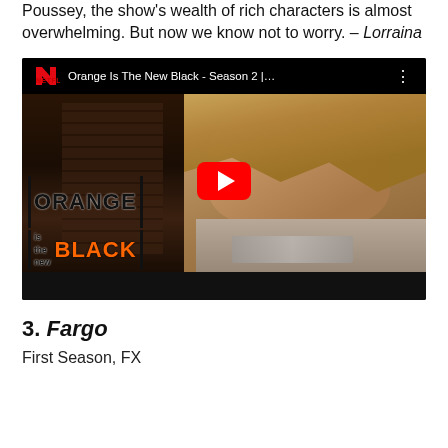Poussey, the show's wealth of rich characters is almost overwhelming. But now we know not to worry. – Lorraina
[Figure (screenshot): YouTube-style embedded video thumbnail for Orange Is The New Black - Season 2 on Netflix, showing a woman with long blonde hair and the show's logo at the bottom left, with a Netflix logo and video title in the top bar, and a red YouTube play button in the center.]
3. Fargo
First Season, FX